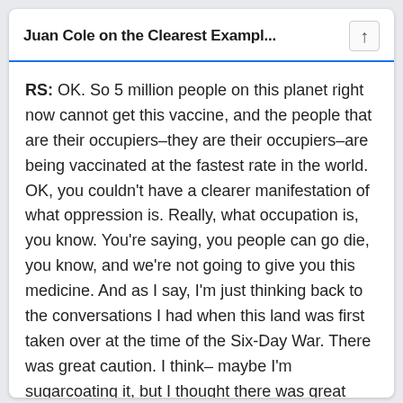Juan Cole on the Clearest Exampl...
RS: OK. So 5 million people on this planet right now cannot get this vaccine, and the people that are their occupiers–they are their occupiers–are being vaccinated at the fastest rate in the world. OK, you couldn't have a clearer manifestation of what oppression is. Really, what occupation is, you know. You're saying, you people can go die, you know, and we're not going to give you this medicine. And as I say, I'm just thinking back to the conversations I had when this land was first taken over at the time of the Six-Day War. There was great caution. I think– maybe I'm sugarcoating it, but I thought there was great